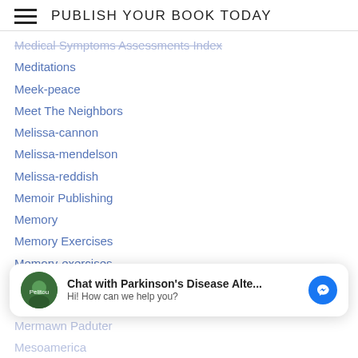PUBLISH YOUR BOOK TODAY
Medical Symptoms (strikethrough/faded)
Meditations
Meek-peace
Meet The Neighbors
Melissa-cannon
Melissa-mendelson
Melissa-reddish
Memoir Publishing
Memory
Memory Exercises
Memory-exercises
Memory Preservation
Mende-papua-new-guinea
Menduh Leka
[Figure (screenshot): Chat widget: avatar of Parkinson's Disease Alte... book, text 'Chat with Parkinson's Disease Alte...' and 'Hi! How can we help you?', Facebook Messenger icon]
Mermawn Paduter (partially visible, faded)
Mesoamerica